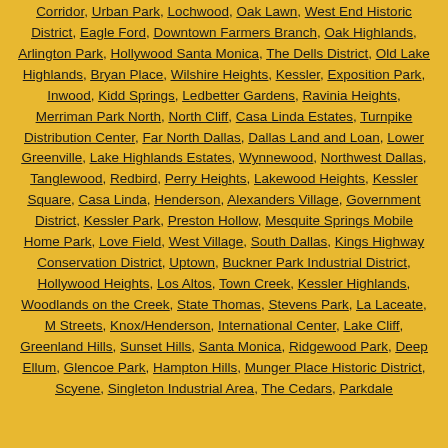Corridor, Urban Park, Lochwood, Oak Lawn, West End Historic District, Eagle Ford, Downtown Farmers Branch, Oak Highlands, Arlington Park, Hollywood Santa Monica, The Dells District, Old Lake Highlands, Bryan Place, Wilshire Heights, Kessler, Exposition Park, Inwood, Kidd Springs, Ledbetter Gardens, Ravinia Heights, Merriman Park North, North Cliff, Casa Linda Estates, Turnpike Distribution Center, Far North Dallas, Dallas Land and Loan, Lower Greenville, Lake Highlands Estates, Wynnewood, Northwest Dallas, Tanglewood, Redbird, Perry Heights, Lakewood Heights, Kessler Square, Casa Linda, Henderson, Alexanders Village, Government District, Kessler Park, Preston Hollow, Mesquite Springs Mobile Home Park, Love Field, West Village, South Dallas, Kings Highway Conservation District, Uptown, Buckner Park Industrial District, Hollywood Heights, Los Altos, Town Creek, Kessler Highlands, Woodlands on the Creek, State Thomas, Stevens Park, La Laceate, M Streets, Knox/Henderson, International Center, Lake Cliff, Greenland Hills, Sunset Hills, Santa Monica, Ridgewood Park, Deep Ellum, Glencoe Park, Hampton Hills, Munger Place Historic District, Scyene, Singleton Industrial Area, The Cedars, Parkdale